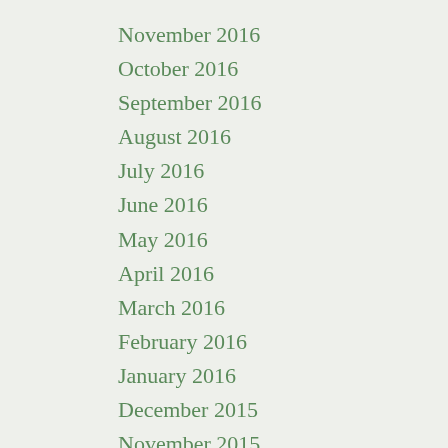November 2016
October 2016
September 2016
August 2016
July 2016
June 2016
May 2016
April 2016
March 2016
February 2016
January 2016
December 2015
November 2015
September 2015
August 2015
July 2015